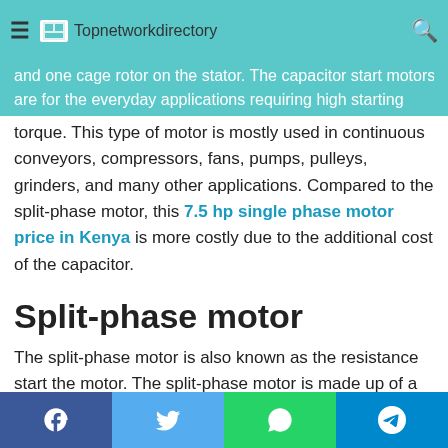Topnetworkdirectory
and one cage rotor on the stator. The capacitor start motors are for the everyday applications requiring high starting torque. This type of motor is mostly used in continuous conveyors, compressors, fans, pumps, pulleys, grinders, and many other applications. Compared to the split-phase motor, this 7.5 hp single phase motor price in Kenya is more costly due to the additional cost of the capacitor.
Split-phase motor
The split-phase motor is also known as the resistance start the motor. The split-phase motor is made up of a single cage rotor and has two winding in its stator which consist of the main winding and an auxiliary winding. This motor is suitable for easily started loads that require a limited starting frequency, hence they are cheap compared to the other types of single-